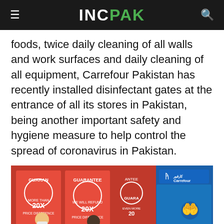INCPAK
foods, twice daily cleaning of all walls and work surfaces and daily cleaning of all equipment, Carrefour Pakistan has recently installed disinfectant gates at the entrance of all its stores in Pakistan, being another important safety and hygiene measure to help control the spread of coronavirus in Pakistan.
[Figure (photo): Photo of a Carrefour disinfection zone gate at the entrance of a Carrefour store in Pakistan. The gate is blue with the Carrefour logo and Arabic text. A person wearing a white mask and uniform stands to the left. Red promotional banners with '20X PRICE DIFFERENCE' and 'GUARANTEE' text are visible in the background. A sign reading 'DISINFECTION ZONE' appears at the bottom right of the blue gate.]